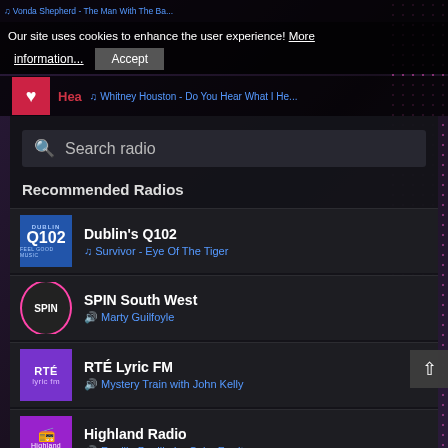♫ Vonda Shepherd - The Man With The Ba...
Our site uses cookies to enhance the user experience! More information... Accept
Hea... ♫ Whitney Houston - Do You Hear What I He...
Search radio
Recommended Radios
Dublin's Q102 — ♫ Survivor - Eye Of The Tiger
SPIN South West — 🔊 Marty Guilfoyle
RTÉ Lyric FM — 🔊 Mystery Train with John Kelly
Highland Radio — 🔊 Ruaille Buaille Le Colm Ferriter